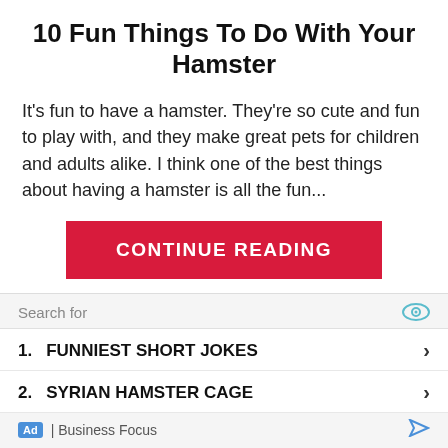10 Fun Things To Do With Your Hamster
It's fun to have a hamster. They're so cute and fun to play with, and they make great pets for children and adults alike. I think one of the best things about having a hamster is all the fun...
CONTINUE READING
ABOUT US
HamstersFAQ is the ultimate resource for learning
Search for
1. FUNNIEST SHORT JOKES
2. SYRIAN HAMSTER CAGE
Ad | Business Focus